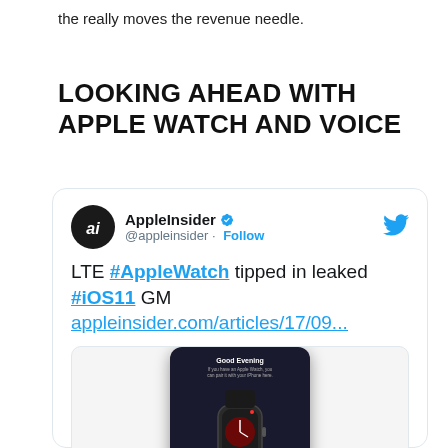the really moves the revenue needle.
LOOKING AHEAD WITH APPLE WATCH AND VOICE
[Figure (screenshot): Embedded tweet from AppleInsider (@appleinsider) with verified badge and Follow button. Tweet text: 'LTE #AppleWatch tipped in leaked #iOS11 GM appleinsider.com/articles/17/09...' with a screenshot image of an Apple Watch setup screen on an iPhone showing 'Good Evening' text and an Apple Watch Series 3 with LTE.]